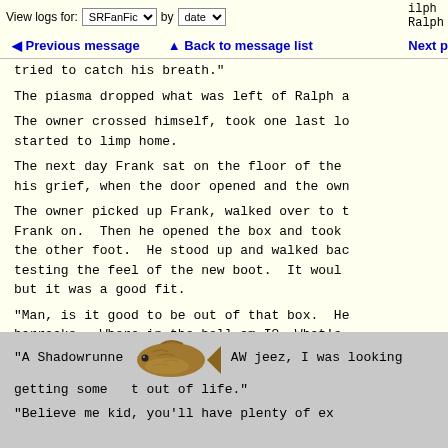View logs for: SRFanFic by date
Previous message   Back to message list   Next p
tried to catch his breath."
The piasma dropped what was left of Ralph a
The owner crossed himself, took one last lo started to limp home.
The next day Frank sat on the floor of the his grief, when the door opened and the own
The owner picked up Frank, walked over to t Frank on.  Then he opened the box and took the other foot.  He stood up and walked bac testing the feel of the new boot.  It woul but it was a good fit.
"Man, is it good to be out of that box.  He barracks.  Where in the hell am I?  What's
"Hi there kid.  My name's Frank.  Your new Shadowrunner."
"A Shadowrunne  AW jeez, I was looking getting some  t out of life."
"Believe me kid, you'll have plenty of ex